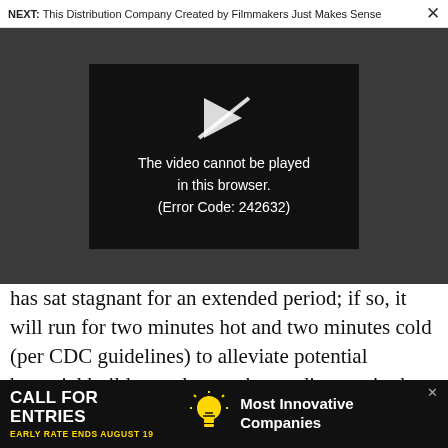NEXT: This Distribution Company Created by Filmmakers Just Makes Sense ×
[Figure (screenshot): Video player showing error message: 'The video cannot be played in this browser. (Error Code: 242632)' with a broken play button icon on dark background]
has sat stagnant for an extended period; if so, it will run for two minutes hot and two minutes cold (per CDC guidelines) to alleviate potential bacterial buildup and water-borne diseases in the pipes.
[Figure (infographic): Advertisement banner: 'CALL FOR ENTRIES — EARLY RATE ENDS AUGUST 19' with lightbulb icon and text 'Most Innovative Companies']